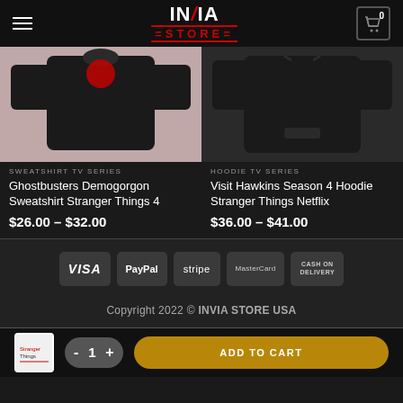INVIA STORE
[Figure (photo): Black sweatshirt with red design on pink/mauve background - Ghostbusters Demogorgon Sweatshirt Stranger Things 4]
SWEATSHIRT TV SERIES
Ghostbusters Demogorgon Sweatshirt Stranger Things 4
$26.00 – $32.00
[Figure (photo): Dark hoodie on dark background - Visit Hawkins Season 4 Hoodie Stranger Things Netflix]
HOODIE TV SERIES
Visit Hawkins Season 4 Hoodie Stranger Things Netflix
$36.00 – $41.00
[Figure (infographic): Payment method icons: VISA, PayPal, stripe, MasterCard, CASH ON DELIVERY]
Copyright 2022 © INVIA STORE USA
- 1 + ADD TO CART